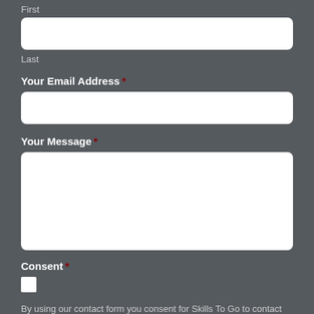First
Last
Your Email Address *
Your Message *
Consent *
By using our contact form you consent for Skills To Go to contact you to discuss your enquiry. Full details about how we use and store data